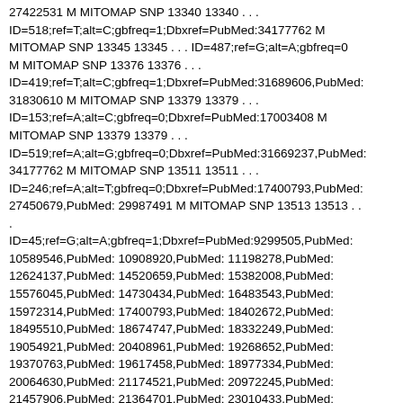27422531 M MITOMAP SNP 13340 13340 . . . ID=518;ref=T;alt=C;gbfreq=1;Dbxref=PubMed:34177762 M MITOMAP SNP 13345 13345 . . . ID=487;ref=G;alt=A;gbfreq=0 M MITOMAP SNP 13376 13376 . . . ID=419;ref=T;alt=C;gbfreq=1;Dbxref=PubMed:31689606,PubMed:31830610 M MITOMAP SNP 13379 13379 . . . ID=153;ref=A;alt=C;gbfreq=0;Dbxref=PubMed:17003408 M MITOMAP SNP 13379 13379 . . . ID=519;ref=A;alt=G;gbfreq=0;Dbxref=PubMed:31669237,PubMed:34177762 M MITOMAP SNP 13511 13511 . . . ID=246;ref=A;alt=T;gbfreq=0;Dbxref=PubMed:17400793,PubMed:27450679,PubMed: 29987491 M MITOMAP SNP 13513 13513 . . . ID=45;ref=G;alt=A;gbfreq=1;Dbxref=PubMed:9299505,PubMed:10589546,PubMed: 10908920,PubMed: 11198278,PubMed: 12624137,PubMed: 14520659,PubMed: 15382008,PubMed: 15576045,PubMed: 14730434,PubMed: 16483543,PubMed: 15972314,PubMed: 17400793,PubMed: 18402672,PubMed: 18495510,PubMed: 18674747,PubMed: 18332249,PubMed: 19054921,PubMed: 20408961,PubMed: 19268652,PubMed: 19370763,PubMed: 19617458,PubMed: 18977334,PubMed: 20064630,PubMed: 21174521,PubMed: 20972245,PubMed: 21457906,PubMed: 21364701,PubMed: 23010433,PubMed: 23847141,PubMed: 23874496,PubMed: 25192510,PubMed: 24931247,PubMed: 24642831,PubMed: 24667782,PubMed: